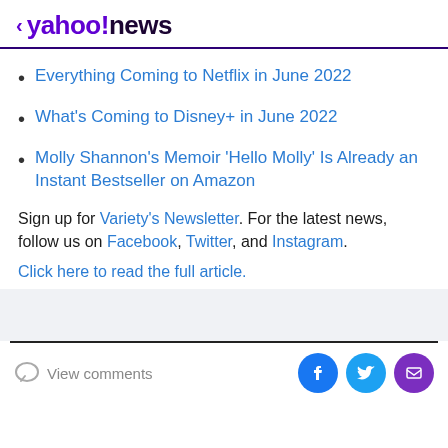< yahoo!news
Everything Coming to Netflix in June 2022
What's Coming to Disney+ in June 2022
Molly Shannon's Memoir 'Hello Molly' Is Already an Instant Bestseller on Amazon
Sign up for Variety's Newsletter. For the latest news, follow us on Facebook, Twitter, and Instagram.
Click here to read the full article.
View comments